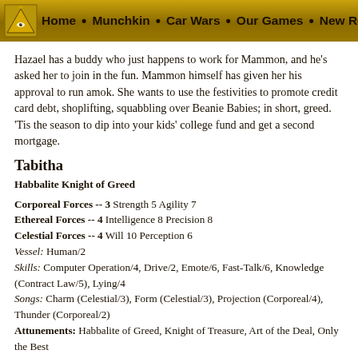Home • Munchkin • Car Wars • Our Games • New Rele
Hazael has a buddy who just happens to work for Mammon, and he's asked her to join in the fun. Mammon himself has given her his approval to run amok. She wants to use the festivities to promote credit card debt, shoplifting, squabbling over Beanie Babies; in short, greed. 'Tis the season to dip into your kids' college fund and get a second mortgage.
Tabitha
Habbalite Knight of Greed
Corporeal Forces -- 3 Strength 5 Agility 7
Ethereal Forces -- 4 Intelligence 8 Precision 8
Celestial Forces -- 4 Will 10 Perception 6
Vessel: Human/2
Skills: Computer Operation/4, Drive/2, Emote/6, Fast-Talk/6, Knowledge (Contract Law/5), Lying/4
Songs: Charm (Celestial/3), Form (Celestial/3), Projection (Corporeal/4), Thunder (Corporeal/2)
Attunements: Habbalite of Greed, Knight of Treasure, Art of the Deal, Only the Best